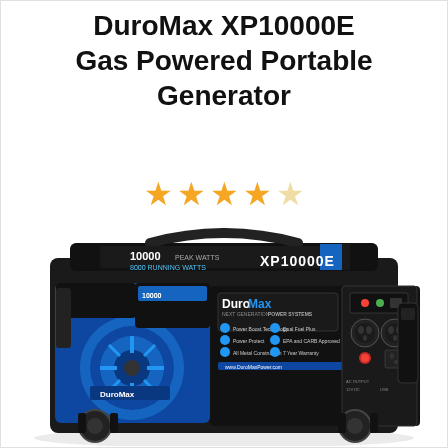DuroMax XP10000E Gas Powered Portable Generator
[Figure (photo): DuroMax XP10000E portable gas-powered generator, black and blue color, showing the control panel, dual fuel tank label reading 10000 peak watts / 8000 running watts, XP10000E branding, DuroMax Next Generation Power Systems badge, outlet panel with multiple receptacles, and large blue engine/motor on the left side. DuroMax logo also visible on the engine cover.]